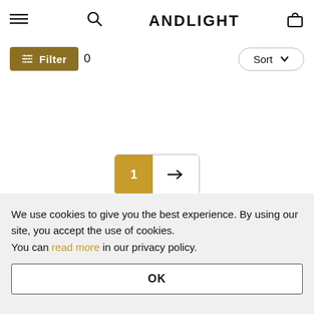ANDLIGHT
[Figure (screenshot): Filter button with sliders icon and Sort dropdown with chevron]
[Figure (screenshot): Pagination control showing page 1 selected in gold and a right arrow for next page]
Popular lamps from New Works
We use cookies to give you the best experience. By using our site, you accept the use of cookies.
You can read more in our privacy policy.
OK